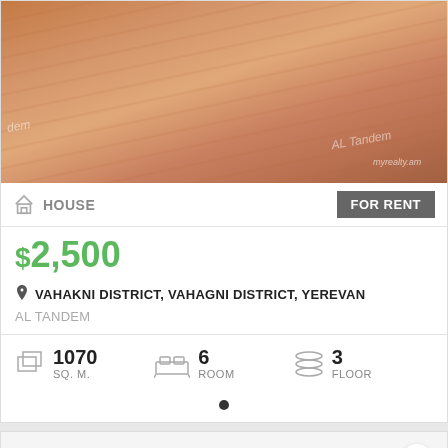[Figure (photo): Hardwood floor interior photo with AL Tandem watermark and myrealty.am logo]
HOUSE
FOR RENT
$2,500
VAHAKNI DISTRICT, VAHAGNI DISTRICT, YEREVAN
AL TANDEM
1070 SQ. M.
6 ROOM
3 FLOOR
[Figure (illustration): Placeholder house icon on grey background with heart/favorite button]